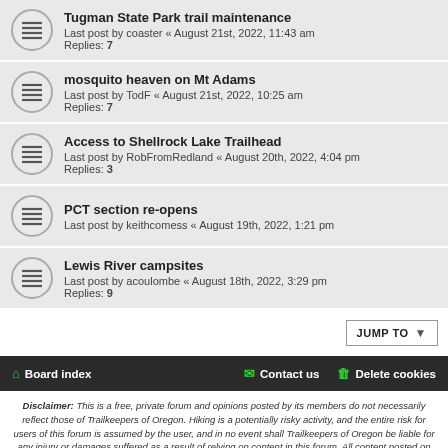Tugman State Park trail maintenance
Last post by coaster « August 21st, 2022, 11:43 am
Replies: 7
mosquito heaven on Mt Adams
Last post by TodF « August 21st, 2022, 10:25 am
Replies: 7
Access to Shellrock Lake Trailhead
Last post by RobFromRedland « August 20th, 2022, 4:04 pm
Replies: 3
PCT section re-opens
Last post by keithcomess « August 19th, 2022, 1:21 pm
Lewis River campsites
Last post by acoulombe « August 18th, 2022, 3:29 pm
Replies: 9
Board index   Contact us   Delete cookies
Disclaimer: This is a free, private forum and opinions posted by its members do not necessarily reflect those of Trailkeepers of Oregon. Hiking is a potentially risky activity, and the entire risk for users of this forum is assumed by the user, and in no event shall Trailkeepers of Oregon be liable for any injury or damages suffered as a result of relying on content in this forum. All content posted on the forum becomes the property of Trailkeepers of Oregon, and may not be used without permission.